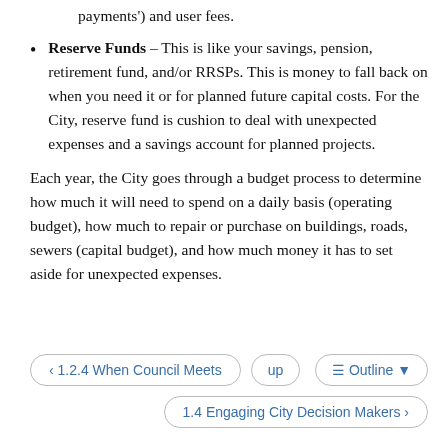payments') and user fees.
Reserve Funds – This is like your savings, pension, retirement fund, and/or RRSPs. This is money to fall back on when you need it or for planned future capital costs. For the City, reserve fund is cushion to deal with unexpected expenses and a savings account for planned projects.
Each year, the City goes through a budget process to determine how much it will need to spend on a daily basis (operating budget), how much to repair or purchase on buildings, roads, sewers (capital budget), and how much money it has to set aside for unexpected expenses.
‹ 1.2.4 When Council Meets
up
☰ Outline ▾
1.4 Engaging City Decision Makers ›